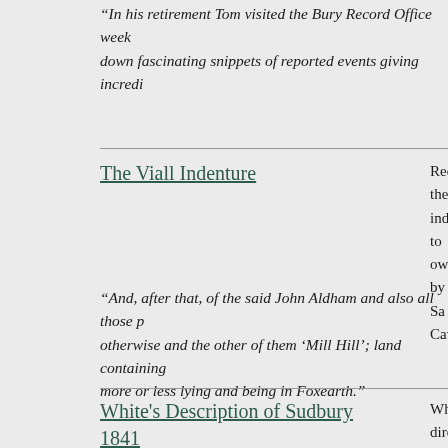"In his retirement Tom visited the Bury Record Office week... down fascinating snippets of reported events giving incredi...
The Viall Indenture
Recently, the... indenture. to... owned by Sa... Cavendish.
"And, after that, of the said John Aldham and also all those p... otherwise and the other of them ‘Mill Hill’; land containing... more or less lying and being in Foxearth."
White's Description of Sudbury 1841
White's dire... Sudbury, wi... historian
"For a long period before and after 1813, the vacancies in th... abused. In 1822, there being only one person living in the h...